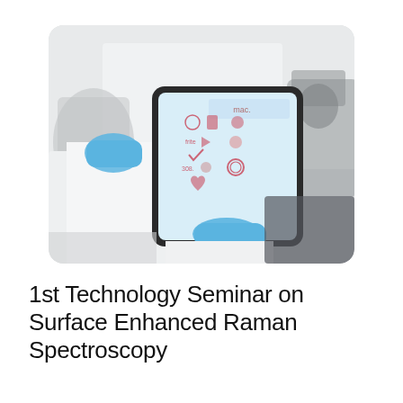[Figure (photo): A laboratory scientist wearing blue gloves and a white lab coat holds a tablet computer displaying a medical or scientific application interface with icons and data. The background shows blurred laboratory equipment including what appears to be a microscope.]
1st Technology Seminar on Surface Enhanced Raman Spectroscopy